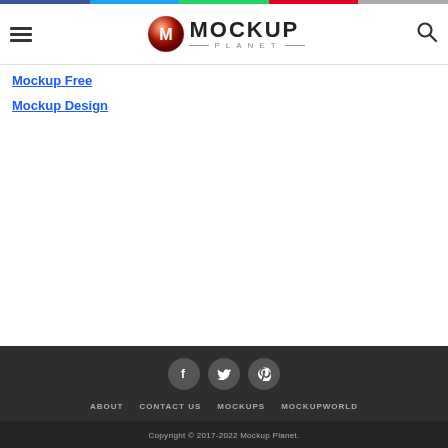Mockup Planet — navigation header with hamburger menu, logo, and search icon
Mockup Free
Mockup Design
Social icons: Facebook, Twitter, Pinterest. Nav links: ABOUT, CONTACT US, MOCKUPS, MOCKUPWORLD. Copyright © 2017-2022 Mockup Planet.